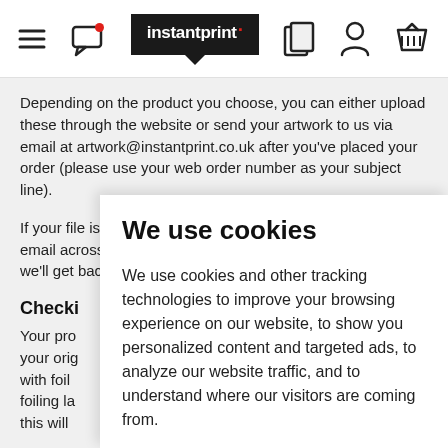[Figure (screenshot): Website header navigation bar with hamburger menu icon, chat notification icon, instantprint logo (black speech bubble style), copy icon, user account icon, and shopping basket icon]
Depending on the product you choose, you can either upload these through the website or send your artwork to us via email at artwork@instantprint.co.uk after you've placed your order (please use your web order number as your subject line).
If your file is over 20MB, you'll need to use WeTransfer to email across your file. Once we've received your artwork, we'll get back to you ASAP with a proof for you to ap
Checki
Your pro your orig with foil foiling la this will
We use cookies
We use cookies and other tracking technologies to improve your browsing experience on our website, to show you personalized content and targeted ads, to analyze our website traffic, and to understand where our visitors are coming from.